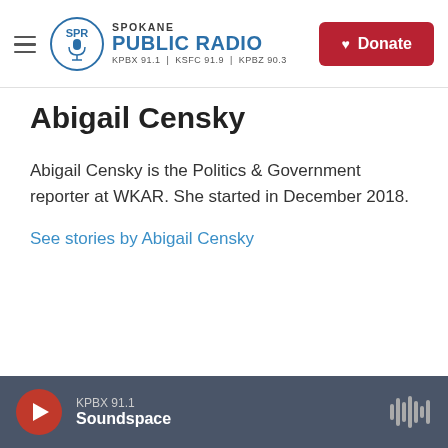Spokane Public Radio — KPBX 91.1 | KSFC 91.9 | KPBZ 90.3 — Donate
Abigail Censky
Abigail Censky is the Politics & Government reporter at WKAR. She started in December 2018.
See stories by Abigail Censky
KPBX 91.1 Soundspace